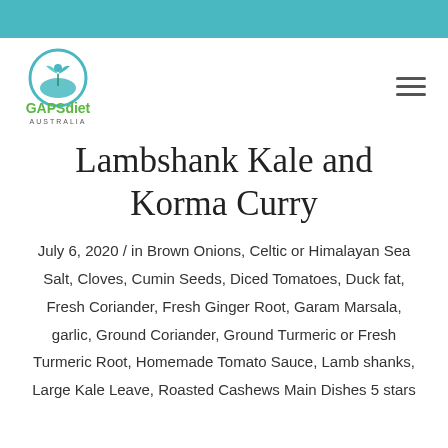[Figure (logo): GAPSdiet Australia logo with teal circle, hand and plant icon, green text]
Lambshank Kale and Korma Curry
July 6, 2020 / in Brown Onions, Celtic or Himalayan Sea Salt, Cloves, Cumin Seeds, Diced Tomatoes, Duck fat, Fresh Coriander, Fresh Ginger Root, Garam Marsala, garlic, Ground Coriander, Ground Turmeric or Fresh Turmeric Root, Homemade Tomato Sauce, Lamb shanks, Large Kale Leave, Roasted Cashews Main Dishes 5 stars